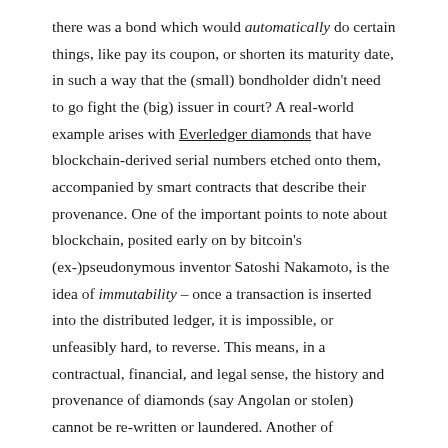there was a bond which would automatically do certain things, like pay its coupon, or shorten its maturity date, in such a way that the (small) bondholder didn't need to go fight the (big) issuer in court? A real-world example arises with Everledger diamonds that have blockchain-derived serial numbers etched onto them, accompanied by smart contracts that describe their provenance. One of the important points to note about blockchain, posited early on by bitcoin's (ex-)pseudonymous inventor Satoshi Nakamoto, is the idea of immutability – once a transaction is inserted into the distributed ledger, it is impossible, or unfeasibly hard, to reverse. This means, in a contractual, financial, and legal sense, the history and provenance of diamonds (say Angolan or stolen) cannot be re-written or laundered. Another of Nakamoto's principal aspirations was that, in a manner analogous to authenticating cash,